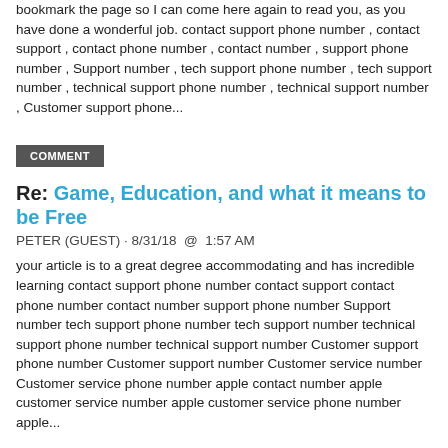bookmark the page so I can come here again to read you, as you have done a wonderful job. contact support phone number , contact support , contact phone number , contact number , support phone number , Support number , tech support phone number , tech support number , technical support phone number , technical support number , Customer support phone...
COMMENT
Re: Game, Education, and what it means to be Free
PETER (GUEST) · 8/31/18  @  1:57 AM
your article is to a great degree accommodating and has incredible learning contact support phone number contact support contact phone number contact number support phone number Support number tech support phone number tech support number technical support phone number technical support number Customer support phone number Customer support number Customer service number Customer service phone number apple contact number apple customer service number apple customer service phone number apple...
COMMENT
Re: Game, Education, and what it means to be Free